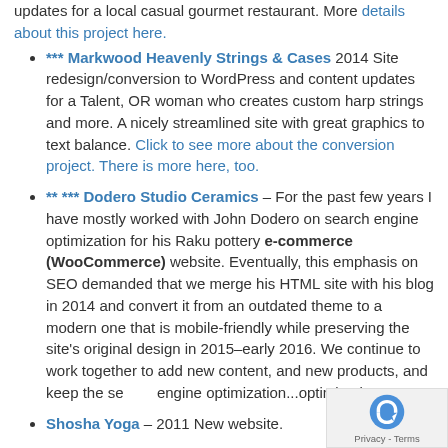updates for a local casual gourmet restaurant. More details about this project here.
*** Markwood Heavenly Strings & Cases 2014 Site redesign/conversion to WordPress and content updates for a Talent, OR woman who creates custom harp strings and more. A nicely streamlined site with great graphics to text balance. Click to see more about the conversion project. There is more here, too.
** *** Dodero Studio Ceramics – For the past few years I have mostly worked with John Dodero on search engine optimization for his Raku pottery e-commerce (WooCommerce) website. Eventually, this emphasis on SEO demanded that we merge his HTML site with his blog in 2014 and convert it from an outdated theme to a modern one that is mobile-friendly while preserving the site's original design in 2015–early 2016. We continue to work together to add new content, and new products, and keep the search engine optimization...optimized.
Shosha Yoga – 2011 New website.